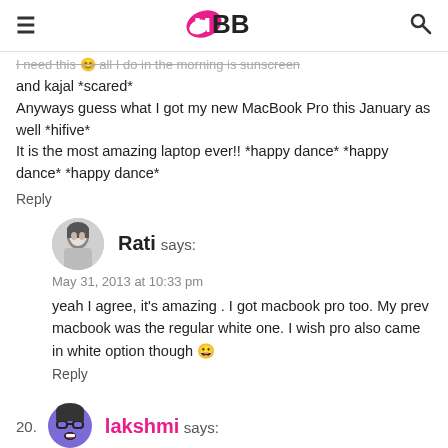IMBB logo with hamburger menu and search icon
I need this 😊 all I do in the morning is sunscreen and kajal *scared*
Anyways guess what I got my new MacBook Pro this January as well *hifive*
It is the most amazing laptop ever!! *happy dance* *happy dance* *happy dance*
Reply
Rati says:
May 31, 2013 at 10:33 pm
yeah I agree, it's amazing . I got macbook pro too. My prev macbook was the regular white one. I wish pro also came in white option though 😀
Reply
20. lakshmi says: